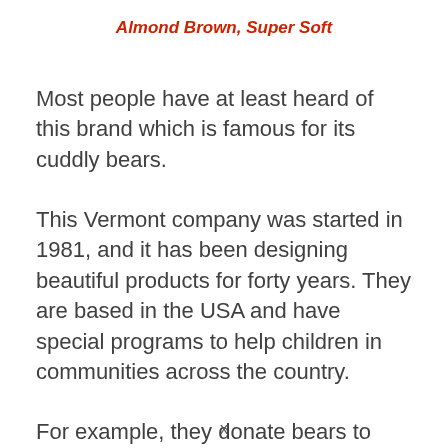Almond Brown, Super Soft
Most people have at least heard of this brand which is famous for its cuddly bears.
This Vermont company was started in 1981, and it has been designing beautiful products for forty years. They are based in the USA and have special programs to help children in communities across the country.
For example, they donate bears to first responder units to be used to comfort
x